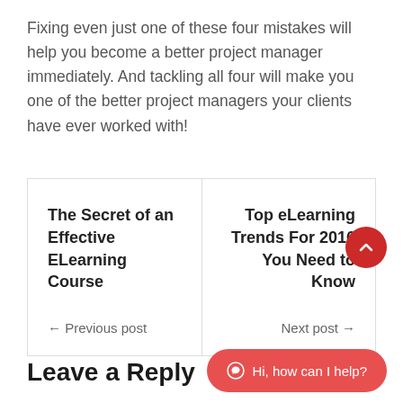Fixing even just one of these four mistakes will help you become a better project manager immediately. And tackling all four will make you one of the better project managers your clients have ever worked with!
[Figure (other): Navigation box with two columns: left side shows 'The Secret of an Effective ELearning Course' as Previous post link; right side shows 'Top eLearning Trends For 2016 You Need to Know' as Next post link]
[Figure (other): Red circular scroll-to-top button with upward chevron arrow]
Leave a Reply
[Figure (other): Red rounded chat button with WhatsApp icon and text 'Hi, how can I help?']